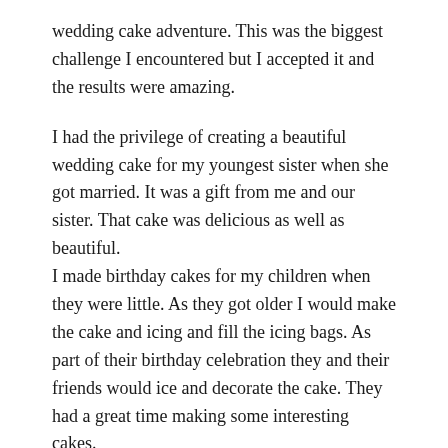wedding cake adventure. This was the biggest challenge I encountered but I accepted it and the results were amazing.
I had the privilege of creating a beautiful wedding cake for my youngest sister when she got married. It was a gift from me and our sister. That cake was delicious as well as beautiful.
I made birthday cakes for my children when they were little. As they got older I would make the cake and icing and fill the icing bags. As part of their birthday celebration they and their friends would ice and decorate the cake. They had a great time making some interesting cakes.
It has been years since I created beautiful and delicious cakes. I am missing one decorating technique from my repertoire. I have always wanted to get this one from my